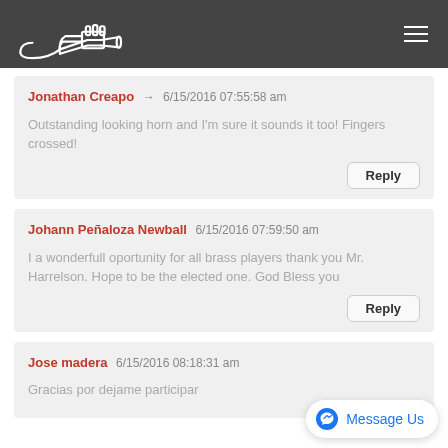Trumpet website logo and navigation
Jonathan Creapo → 6/15/2016 07:55:58 am
Outstanding looking horn and I'm sure it sounds it too! Fingers crossed!
Johann Peñaloza Newball 6/15/2016 07:59:50 am
I a wonderfull oportunity for all brass players thank you Mr. Harrelson. Hope to be the elected one. God Bless you
Jose madera 6/15/2016 08:18:31 am
Gracias por dejame participar